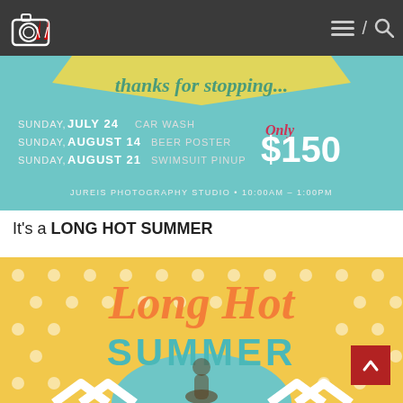Photography studio website navigation bar with logo
[Figure (photo): Promotional banner for Jureis Photography Studio summer sessions: Sunday July 24 Car Wash, Sunday August 14 Beer Poster, Sunday August 21 Swimsuit Pinup. Only $150. 10:00AM - 1:00PM]
It's a LONG HOT SUMMER
[Figure (photo): Long Hot Summer promotional image with orange and teal script text on yellow polka dot background with woman in foreground]